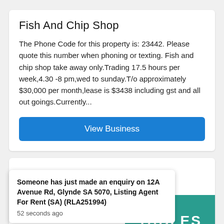Fish And Chip Shop
The Phone Code for this property is: 23442. Please quote this number when phoning or texting. Fish and chip shop take away only.Trading 17.5 hours per week,4.30 -8 pm,wed to sunday.T/o approximately $30,000 per month,lease is $3438 including gst and all out goings.Currently...
View Business
BUNBURY, WA 6230
$245,000
[Figure (screenshot): Teal/green banner with text TABLES in white bold letters]
Someone has just made an enquiry on 12A Avenue Rd, Glynde SA 5070, Listing Agent For Rent (SA) (RLA251994)
52 seconds ago